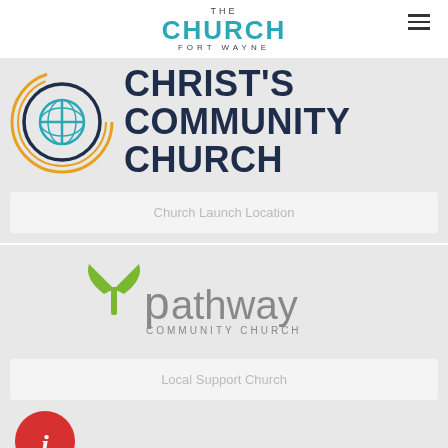THE CHURCH FORT WAYNE
[Figure (logo): Christ's Community Church logo with circular emblem and bold dark navy text reading CHRIST'S COMMUNITY CHURCH]
Church Launch Location
[Figure (logo): Pathway Community Church logo with green leaf/cross icon and gray text]
Local Support Church
[Figure (logo): Partial red circle with white info icon at bottom of page]